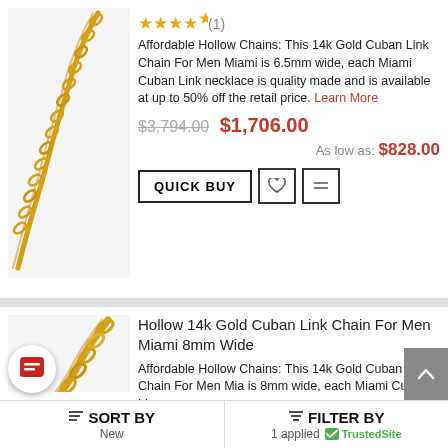[Figure (photo): Gold Cuban link chain necklace product image, top item]
★★★★★(1)
Affordable Hollow Chains: This 14k Gold Cuban Link Chain For Men Miami is 6.5mm wide, each Miami Cuban Link necklace is quality made and is available at up to 50% off the retail price. Learn More
$3,794.00  $1,706.00
As low as: $828.00
QUICK BUY
[Figure (photo): Gold Cuban link chain necklace product image, bottom item]
Hollow 14k Gold Cuban Link Chain For Men Miami 8mm Wide
Affordable Hollow Chains: This 14k Gold Cuban Link Chain For Men Miami is 8mm wide, each Miami Cuban Lin...
SORT BY New   FILTER BY 1 applied   TrustedSite